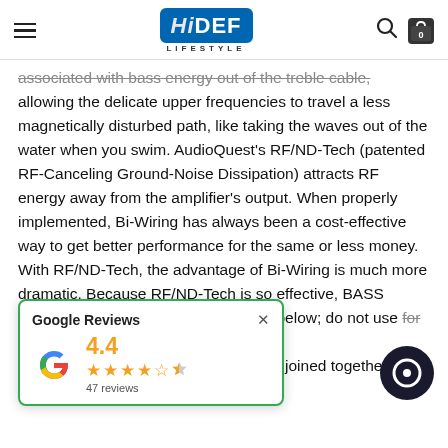HiDEF LIFESTYLE
associated with bass energy out of the treble cable, allowing the delicate upper frequencies to travel a less magnetically disturbed path, like taking the waves out of the water when you swim. AudioQuest's RF/ND-Tech (patented RF-Canceling Ground-Noise Dissipation) attracts RF energy away from the amplifier's output. When properly implemented, Bi-Wiring has always been a cost-effective way to get better performance for the same or less money. With RF/ND-Tech, the advantage of Bi-Wiring is much more dramatic. Because RF/ND-Tech is so effective, BASS model cables are only for 10KHz and below; do not use for treble. ThunderBird ZERO. A Bi-Wire COMBO with BASS and ZERO cables joined together at
[Figure (other): Google Reviews popup showing 4.4 stars with 47 reviews and a Google G logo]
[Figure (other): Dark circular chat/support button with white ring icon]